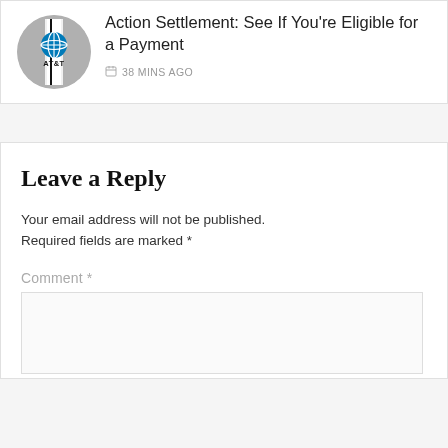[Figure (logo): AT&T logo in a circular grey image frame]
Action Settlement: See If You're Eligible for a Payment
38 MINS AGO
Leave a Reply
Your email address will not be published. Required fields are marked *
Comment *